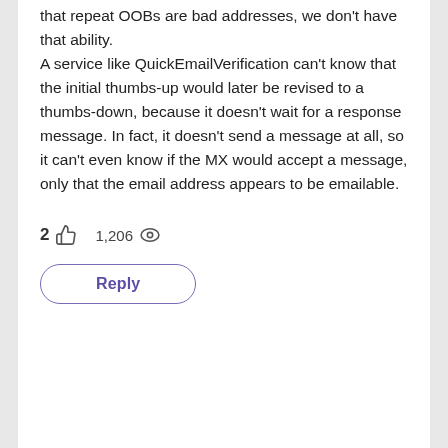that repeat OOBs are bad addresses, we don't have that ability. A service like QuickEmailVerification can't know that the initial thumbs-up would later be revised to a thumbs-down, because it doesn't wait for a response message. In fact, it doesn't send a message at all, so it can't even know if the MX would accept a message, only that the email address appears to be emailable.
2 👍  1,206 👁  Reply